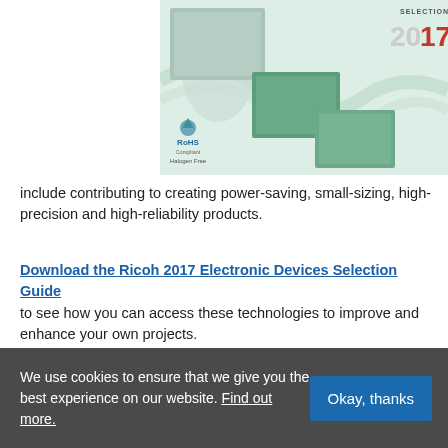[Figure (illustration): Ricoh 2017 Electronic Devices Selection Guide cover image showing circuit board components, a RoHS Compliant Halogen Free badge, and '2017' text with the label 'Selection Guide'.]
include contributing to creating power-saving, small-sizing, high-precision and high-reliability products.
Download the Ricoh 2017 Electronic Devices Selection Guide to see how you can access these technologies to improve and enhance your own projects.
Who are Ricoh?
We use cookies to ensure that we give you the best experience on our website. Find out more.